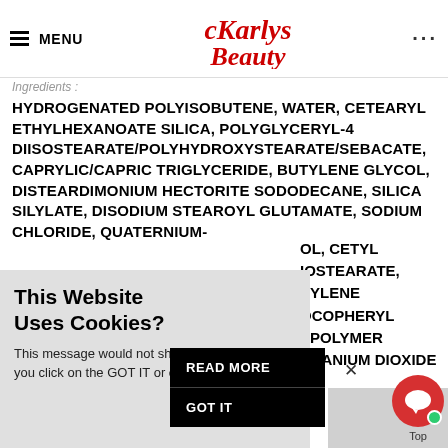MENU | Karlys Beauty | ...
Ingredients :
HYDROGENATED POLYISOBUTENE, WATER, CETEARYL ETHYLHEXANOATE SILICA, POLYGLYCERYL-4 DIISOSTEARATE/POLYHYDROXYSTEARATE/SEBACATE, CAPRYLIC/CAPRIC TRIGLYCERIDE, BUTYLENE GLYCOL, DISTEARDIMONIUM HECTORITE SODODECANE, SILICA SILYLATE, DISODIUM STEAROYL GLUTAMATE, SODIUM CHLORIDE, QUATERNIUM-...OL, CETYL ...IOSTEARATE, ...PYLENE ...OCOPHERYL ...SPOLYMER ...TITANIUM DIOXIDE
[Figure (screenshot): Cookie consent popup overlay with title 'This Website Uses Cookies?', body text, READ MORE and GOT IT buttons, and a close X button]
[Figure (infographic): Red circular chat bubble button with white speech bubble icon and green online dot, plus Top label]